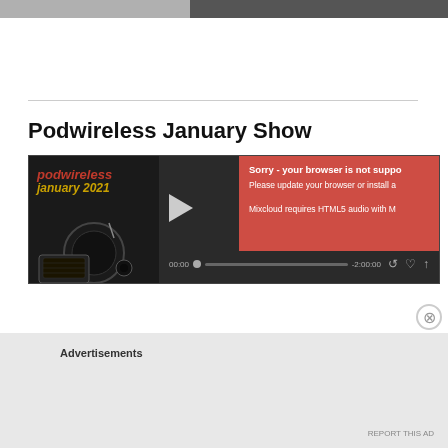[Figure (screenshot): Top image strip showing partial images]
Podwireless January Show
[Figure (screenshot): Mixcloud audio player for Podwireless January Show with error overlay: Sorry - your browser is not supported. Please update your browser or install a. Mixcloud requires HTML5 audio with M. Timestamp 00:00 / -2:00:00]
Advertisements
REPORT THIS AD